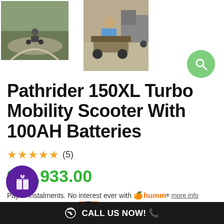[Figure (photo): Small photo of person riding a mobility scooter on a curved path outdoors]
[Figure (photo): Larger photo of man sitting on a large off-road mobility scooter on a dirt area near a truck]
Pathrider 150XL Turbo Mobility Scooter With 100AH Batteries
★★★★★ (5)
$12,933.00
Pay in instalments. No interest ever with humm® more info
or from $10/week with Zip
CALL US NOW! 📞